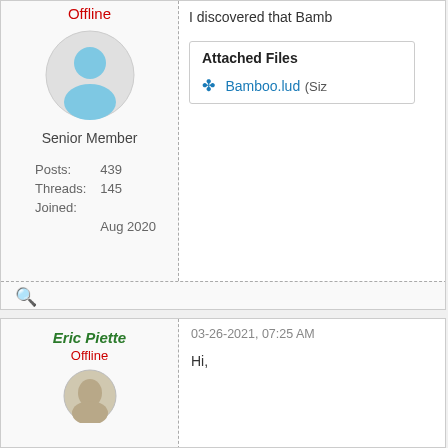Offline
[Figure (illustration): Generic user avatar: grey circle with light blue person silhouette icon]
Senior Member
Posts: 439
Threads: 145
Joined: Aug 2020
I discovered that Bamb
Attached Files
Bamboo.lud (Siz
Eric Piette
Offline
03-26-2021, 07:25 AM
Hi,